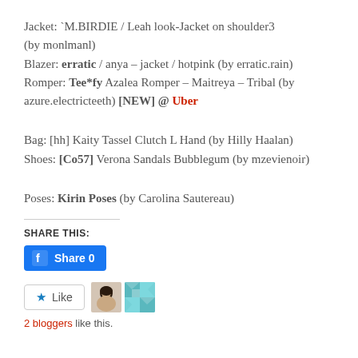Jacket: `M.BIRDIE / Leah look-Jacket on shoulder3 (by monlmanl)
Blazer: erratic / anya – jacket / hotpink (by erratic.rain)
Romper: Tee*fy Azalea Romper – Maitreya – Tribal (by azure.electricteeth) [NEW] @ Uber
Bag: [hh] Kaity Tassel Clutch L Hand (by Hilly Haalan)
Shoes: [Co57] Verona Sandals Bubblegum (by mzevienoir)
Poses: Kirin Poses (by Carolina Sautereau)
SHARE THIS:
[Figure (other): Facebook Share button with count 0]
[Figure (other): Like button with star icon, two blogger avatars, and '2 bloggers like this.' text]